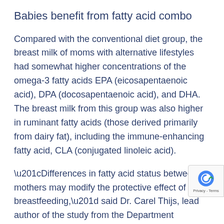Babies benefit from fatty acid combo
Compared with the conventional diet group, the breast milk of moms with alternative lifestyles had somewhat higher concentrations of the omega-3 fatty acids EPA (eicosapentaenoic acid), DPA (docosapentaenoic acid), and DHA. The breast milk from this group was also higher in ruminant fatty acids (those derived primarily from dairy fat), including the immune-enhancing fatty acid, CLA (conjugated linoleic acid).
“Differences in fatty acid status between mothers may modify the protective effect of breastfeeding,” said Dr. Carel Thijs, lead author of the study from the Department Epidemiology at Maastricht University in the Netherlands. “This may explain